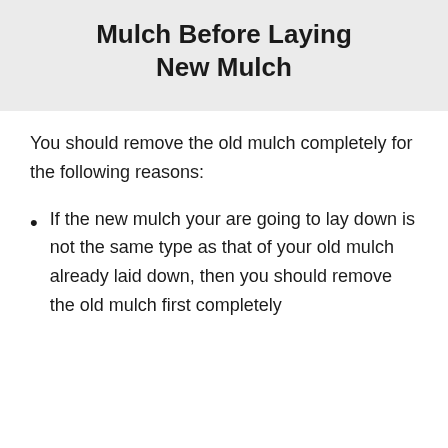Mulch Before Laying New Mulch
You should remove the old mulch completely for the following reasons:
If the new mulch your are going to lay down is not the same type as that of your old mulch already laid down, then you should remove the old mulch first completely